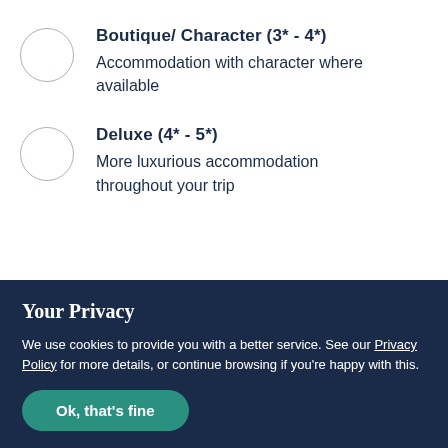Boutique/ Character (3* - 4*)
Accommodation with character where available
Deluxe (4* - 5*)
More luxurious accommodation throughout your trip
Your Privacy
We use cookies to provide you with a better service. See our Privacy Policy for more details, or continue browsing if you're happy with this.
Ok, that's fine